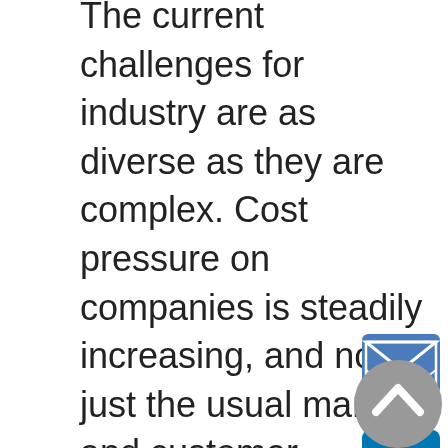The current challenges for industry are as diverse as they are complex. Cost pressure on companies is steadily increasing, and not just the usual market and customer commercial constraints. Rising manufacturing costs, both raw materials and energy, as well as the globally grim economic situation are greatly increasing the burden on business. In specific sectors, this problem is further intensified by political and legislative hurdles. Strategic decisions to outsource production steps to suppliers or offshore seem ever more often to be reaching their limits; not only
[Figure (illustration): Email/envelope icon — blue square with white envelope graphic]
[Figure (logo): LinkedIn logo — blue square with white 'in' text]
[Figure (illustration): Grey circular scroll-to-top button with upward chevron arrow]